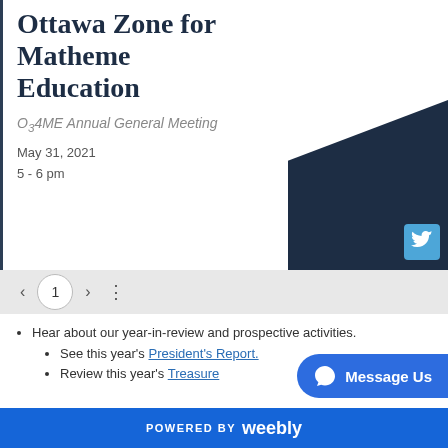Ottawa Zone for Mathematic Education
O₃4ME Annual General Meeting
May 31, 2021
5 - 6 pm
[Figure (illustration): Dark navy triangle/wedge shape overlaid on the slide background, with a Twitter bird icon in the bottom-right corner]
< 1 > ⋮ (slide navigation bar)
Hear about our year-in-review and prospective activities.
See this year's President's Report.
Review this year's Treasure...
POWERED BY weebly